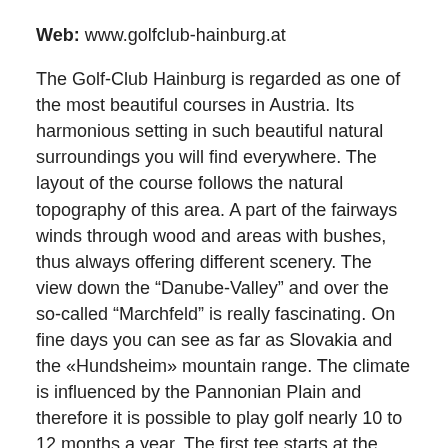Web: www.golfclub-hainburg.at
The Golf-Club Hainburg is regarded as one of the most beautiful courses in Austria. Its harmonious setting in such beautiful natural surroundings you will find everywhere. The layout of the course follows the natural topography of this area. A part of the fairways winds through wood and areas with bushes, thus always offering different scenery. The view down the “Danube-Valley” and over the so-called “Marchfeld” is really fascinating. On fine days you can see as far as Slovakia and the «Hundsheim» mountain range. The climate is influenced by the Pannonian Plain and therefore it is possible to play golf nearly 10 to 12 months a year. The first tee starts at the clubhouse terrace. The 9th hole again leads back to the clubhouse where you can stop for a refreshment before starting the next 9 holes. Other attractions: A wonderful mixture of sport activities, sightseeing tours and cultural visits to many interesting places is offered in the Hainburg region or excursions to the “Neusiedler See” (Lake Neusiedel), the largest steppe-